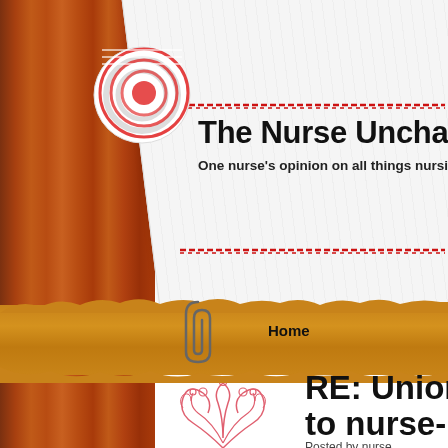[Figure (illustration): Website header for 'The Nurse Unchained' blog showing a wooden panel background on the left, decorative white card tilted at angle with red spiral design and red stitch lines, cork/torn paper strip navigation bar with 'Home' link and paperclip, and bottom post title area with floral decoration.]
The Nurse Unchained
One nurse's opinion on all things nursing
Home
RE: Union oppo to nurse-patient
Posted by nurse...